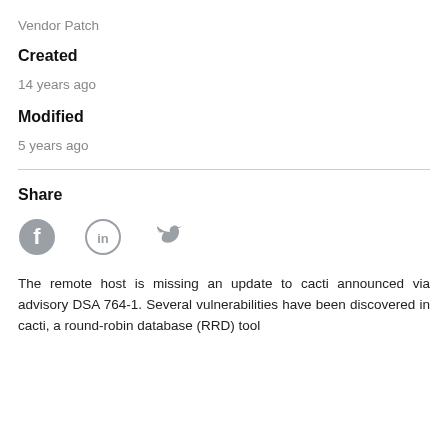Vendor Patch
Created
14 years ago
Modified
5 years ago
Share
[Figure (infographic): Three social media icons: Facebook, LinkedIn (in a circle), and Twitter]
The remote host is missing an update to cacti announced via advisory DSA 764-1. Several vulnerabilities have been discovered in cacti, a round-robin database (RRD) tool